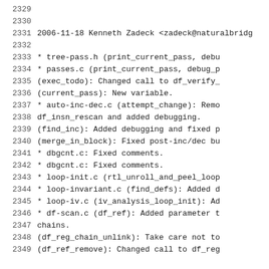2329
2330
2331    2006-11-18  Kenneth Zadeck <zadeck@naturalbridg
2332
2333            * tree-pass.h (print_current_pass, debu
2334            * passes.c (print_current_pass, debug_p
2335            (exec_todo): Changed call to df_verify_
2336            (current_pass): New variable.
2337            * auto-inc-dec.c (attempt_change): Remo
2338            df_insn_rescan and added debugging.
2339            (find_inc): Added debugging and fixed p
2340            (merge_in_block): Fixed post-inc/dec bu
2341            * dbgcnt.c: Fixed comments.
2342            * dbgcnt.c: Fixed comments.
2343            * loop-init.c (rtl_unroll_and_peel_loop
2344            * loop-invariant.c (find_defs): Added d
2345            * loop-iv.c (iv_analysis_loop_init): Ad
2346            * df-scan.c (df_ref): Added parameter t
2347            chains.
2348            (df_reg_chain_unlink): Take care not to
2349            (df_ref_remove): Changed call to df_reg